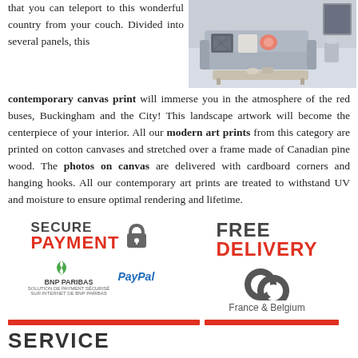that you can teleport to this wonderful country from your couch. Divided into several panels, this contemporary canvas print will immerse you in the atmosphere of the red buses, Buckingham and the City! This landscape artwork will become the centerpiece of your interior. All our modern art prints from this category are printed on cotton canvases and stretched over a frame made of Canadian pine wood. The photos on canvas are delivered with cardboard corners and hanging hooks. All our contemporary art prints are treated to withstand UV and moisture to ensure optimal rendering and lifetime.
[Figure (photo): Interior photo showing a modern living room with a sofa, decorative pillows, and a coffee table]
[Figure (infographic): Secure Payment badge with BNP Paribas and PayPal logos]
[Figure (infographic): Free Delivery badge for France & Belgium]
SERVICE